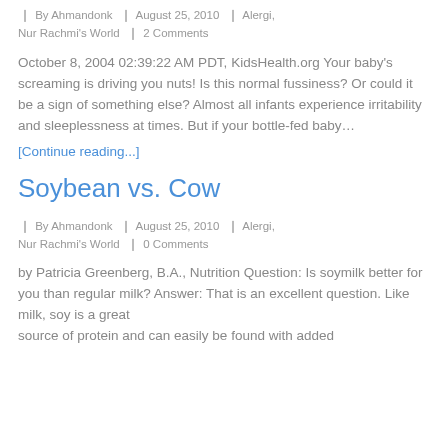By Ahmandonk | August 25, 2010 | Alergi, Nur Rachmi's World | 2 Comments
October 8, 2004 02:39:22 AM PDT, KidsHealth.org Your baby's screaming is driving you nuts! Is this normal fussiness? Or could it be a sign of something else? Almost all infants experience irritability and sleeplessness at times. But if your bottle-fed baby...
[Continue reading...]
Soybean vs. Cow
By Ahmandonk | August 25, 2010 | Alergi, Nur Rachmi's World | 0 Comments
by Patricia Greenberg, B.A., Nutrition Question: Is soymilk better for you than regular milk? Answer: That is an excellent question. Like milk, soy is a great source of protein and can easily be found with added...